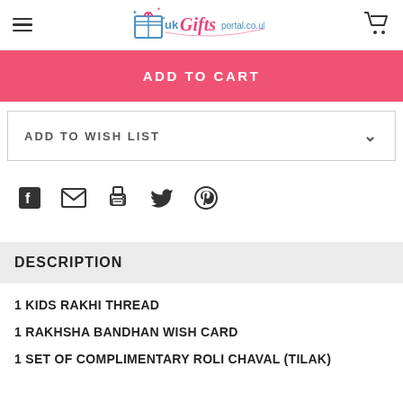UK Gifts Portal
ADD TO CART
ADD TO WISH LIST
[Figure (illustration): Social share icons: Facebook, Email, Print, Twitter, Pinterest]
DESCRIPTION
1 KIDS RAKHI THREAD
1 RAKHSHA BANDHAN WISH CARD
1 SET OF COMPLIMENTARY ROLI CHAVAL (TILAK)